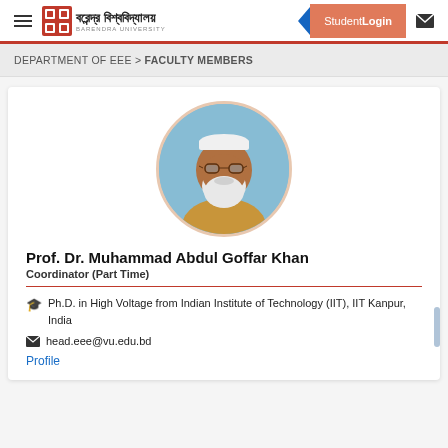Barendra University — Student Login
DEPARTMENT OF EEE > FACULTY MEMBERS
[Figure (photo): Circular profile photo of Prof. Dr. Muhammad Abdul Goffar Khan, an elderly man with white beard and glasses, wearing a white cap and golden/brown kurta, against a light blue background.]
Prof. Dr. Muhammad Abdul Goffar Khan
Coordinator (Part Time)
🎓 Ph.D. in High Voltage from Indian Institute of Technology (IIT), IIT Kanpur, India
✉ head.eee@vu.edu.bd
Profile